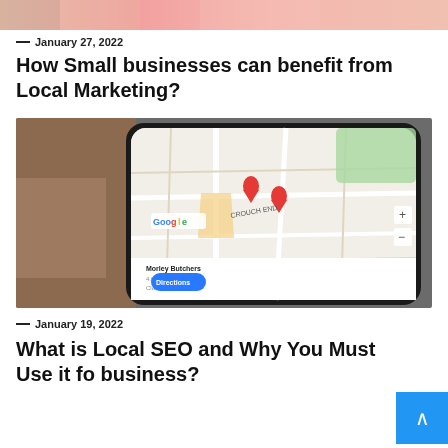[Figure (photo): Top cropped image showing pink/skin tones, partial view of what appears to be a person or product]
— January 27, 2022
How Small businesses can benefit from Local Marketing?
[Figure (photo): Hand holding a smartphone displaying Google Maps with location pins marking Crouch End area, showing Morley Butchers with star ratings and a blue Directions button]
— January 19, 2022
What is Local SEO and Why You Must Use it fo business?